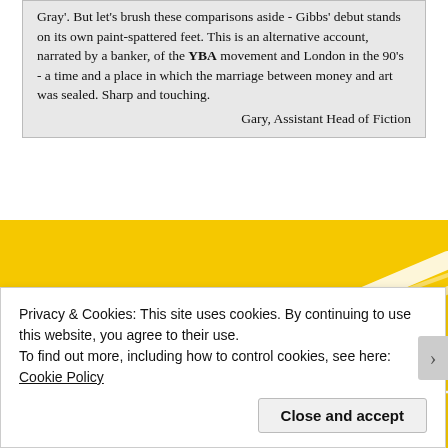Gray'. But let's brush these comparisons aside - Gibbs' debut stands on its own paint-spattered feet. This is an alternative account, narrated by a banker, of the YBA movement and London in the 90's - a time and a place in which the marriage between money and art was sealed. Sharp and touching.
Gary, Assistant Head of Fiction
[Figure (photo): Yellow background image showing abstract white line shapes, appearing to be a book cover or artwork with geometric line elements on a bright yellow/golden background.]
Privacy & Cookies: This site uses cookies. By continuing to use this website, you agree to their use.
To find out more, including how to control cookies, see here: Cookie Policy
Close and accept